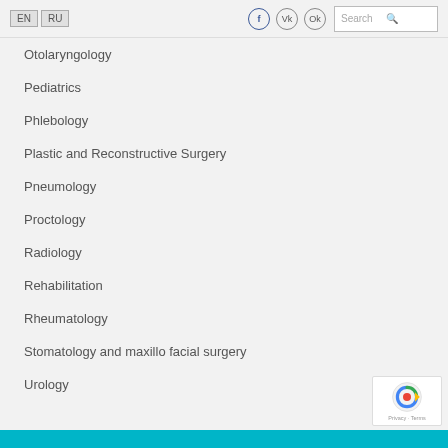EN | RU — Social icons — Search
Otolaryngology
Pediatrics
Phlebology
Plastic and Reconstructive Surgery
Pneumology
Proctology
Radiology
Rehabilitation
Rheumatology
Stomatology and maxillo facial surgery
Urology